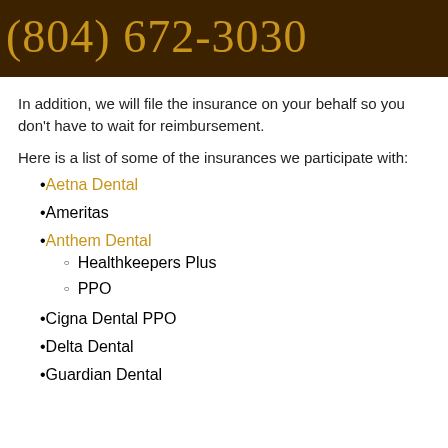(804) 672-3030
In addition, we will file the insurance on your behalf so you don't have to wait for reimbursement.
Here is a list of some of the insurances we participate with:
Aetna Dental
Ameritas
Anthem Dental
Healthkeepers Plus
PPO
Cigna Dental PPO
Delta Dental
Guardian Dental